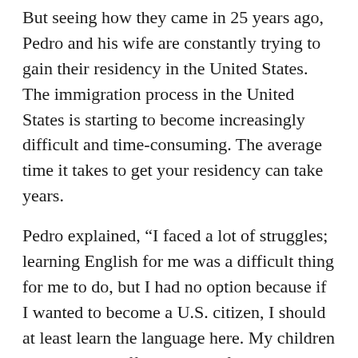But seeing how they came in 25 years ago, Pedro and his wife are constantly trying to gain their residency in the United States. The immigration process in the United States is starting to become increasingly difficult and time-consuming. The average time it takes to get your residency can take years.
Pedro explained, “I faced a lot of struggles; learning English for me was a difficult thing for me to do, but I had no option because if I wanted to become a U.S. citizen, I should at least learn the language here. My children also have to suffer because of my mistakes as well. They tell me they want to go to places like Disneyland or Universal Studios, but I have to tell them no because we might reach a checkpoint where people will ask us for our papers, then we would get deported.”
He added on, “I also miss my family. Sometimes they visit the U.S. and I see them there, but it is not easy to...